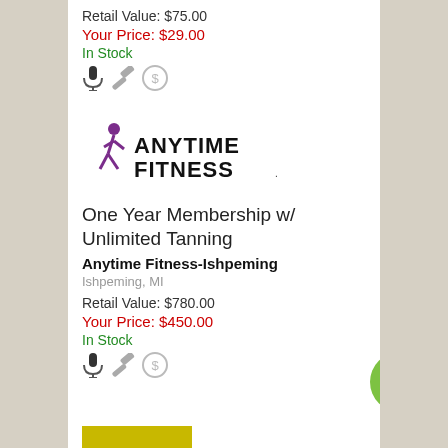Retail Value: $75.00
Your Price: $29.00
In Stock
[Figure (logo): Anytime Fitness logo with purple running figure and bold black text]
One Year Membership w/ Unlimited Tanning
Anytime Fitness-Ishpeming
Ishpeming, MI
Retail Value: $780.00
Your Price: $450.00
In Stock